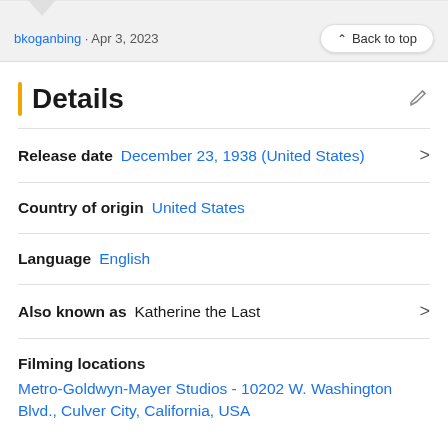bkoganbing · Apr 3, 2023
Back to top
Details
Release date  December 23, 1938 (United States)
Country of origin  United States
Language  English
Also known as  Katherine the Last
Filming locations  Metro-Goldwyn-Mayer Studios - 10202 W. Washington Blvd., Culver City, California, USA